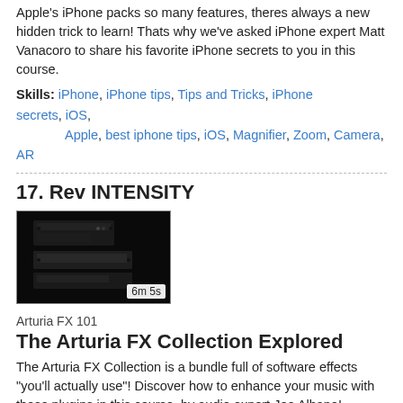Apple's iPhone packs so many features, theres always a new hidden trick to learn! Thats why we've asked iPhone expert Matt Vanacoro to share his favorite iPhone secrets to you in this course.
Skills: iPhone, iPhone tips, Tips and Tricks, iPhone secrets, iOS, Apple, best iphone tips, iOS, Magnifier, Zoom, Camera, AR
17. Rev INTENSITY
[Figure (screenshot): Dark thumbnail image of audio equipment with time badge '6m 5s']
Arturia FX 101
The Arturia FX Collection Explored
The Arturia FX Collection is a bundle full of software effects "you'll actually use"! Discover how to enhance your music with these plugins in this course, by audio expert Joe Albano!
Skills: Arturia, FX Collection, Preamp, Compressor, Delay, Filter, Reverb, analog, plugin you'll actually use,